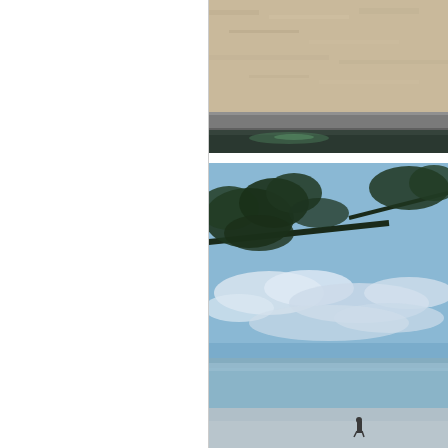[Figure (photo): Close-up photo of sandy beach surface with a curb or concrete barrier visible, showing sand texture and a dark water or shadow area at the bottom]
[Figure (photo): Beach scene photographed from under pine tree branches in the foreground, with a wide blue sky with white clouds, ocean/bay shoreline in the distance, and a small figure of a person walking on the beach]